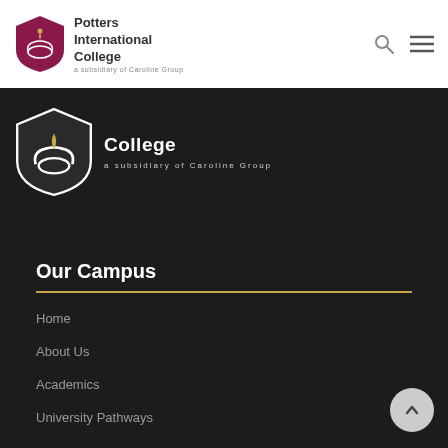[Figure (logo): Potters International College logo — maroon shield with hands and flame, text 'Potters International College, a subsidiary of Caroline Group']
[Figure (logo): Large white version of Potters International College logo on dark background — shield with hands, 'College' text and 'a subsidiary of Caroline Group']
Our Campus
Home
About Us
Academics
University Pathways